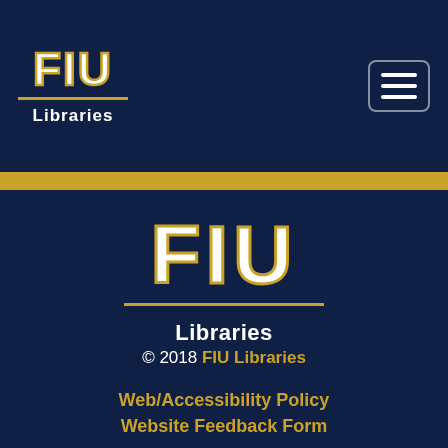[Figure (logo): FIU Libraries logo in header (small, white text with gold underline), with hamburger menu icon top right]
[Figure (logo): Large FIU Libraries logo centered in dark navy footer area, with gold underline]
Libraries
© 2018 FIU Libraries
Web/Accessibility Policy
Website Feedback Form
[Figure (illustration): Social media icons: Facebook, Twitter, Instagram — white on white rounded square backgrounds]